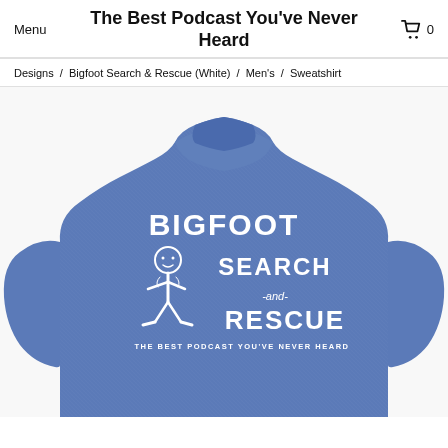Menu   The Best Podcast You've Never Heard   🛒 0
Designs / Bigfoot Search & Rescue (White) / Men's / Sweatshirt
[Figure (photo): Blue heather sweatshirt with white Bigfoot Search and Rescue graphic design featuring a cartoon Bigfoot figure and text reading BIGFOOT SEARCH -and- RESCUE THE BEST PODCAST YOU'VE NEVER HEARD]